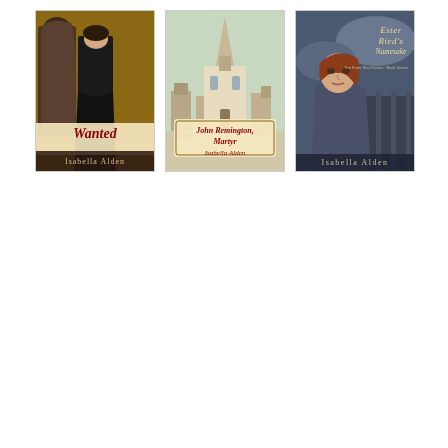[Figure (illustration): Book cover for 'Wanted' by Isabella Alden. Shows two Victorian-era figures, one in a brown cloak, one in a black dress. Title 'Wanted' in red script at bottom, author name 'Isabella Alden' below.]
[Figure (illustration): Book cover for 'John Remington, Martyr' by Isabella Alden. Shows a vintage postcard-style image of a church with a tall steeple and town square. Title and author name in red text on a label overlay.]
[Figure (illustration): Book cover for 'Ester Ried's Namesake' by Isabella Alden. Shows a young woman with auburn hair against a dramatic sky background. Title 'Ester Ried's Namesake' in stylized text at top right, author name 'Isabella Alden' at bottom.]